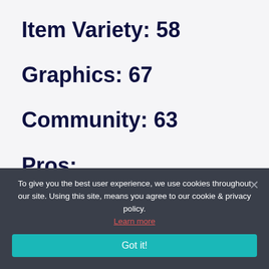Item Variety: 58
Graphics: 67
Community: 63
Pros:
DarkEden has very nice
To give you the best user experience, we use cookies throughout our site. Using this site, means you agree to our cookie & privacy policy. Learn more Got it!